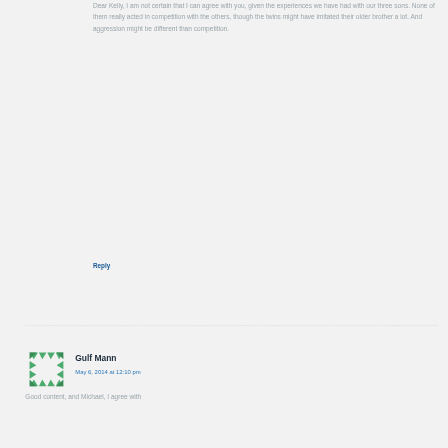Dear Kelly, I am not certain that I can agree with you, given the experiences we have had with our three sons. None of them really acted in competition with the others, though the twins might have imitated their older brother a lot. And aggression might be different than competition.
Reply
[Figure (illustration): Green geometric avatar icon made of triangular shapes arranged in a square pattern]
Gulf Mann
May 6, 2014 at 12:10 pm
Good content, and Michael, I agree with...